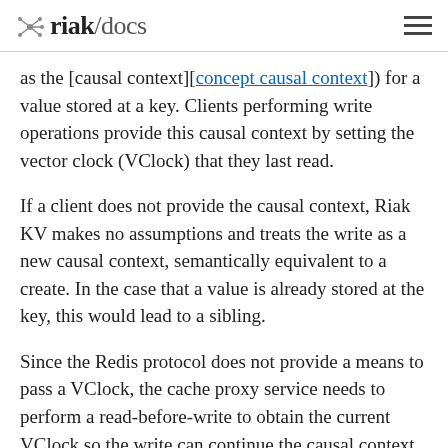riak/docs
as the [causal context][concept causal context]) for a value stored at a key. Clients performing write operations provide this causal context by setting the vector clock (VClock) that they last read.
If a client does not provide the causal context, Riak KV makes no assumptions and treats the write as a new causal context, semantically equivalent to a create. In the case that a value is already stored at the key, this would lead to a sibling.
Since the Redis protocol does not provide a means to pass a VClock, the cache proxy service needs to perform a read-before-write to obtain the current VClock so the write can continue the causal context previously established and avoid “sibling explosion”